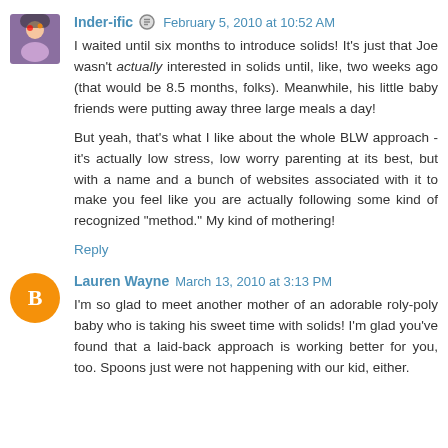Inder-ific [edit icon] February 5, 2010 at 10:52 AM
I waited until six months to introduce solids! It's just that Joe wasn't actually interested in solids until, like, two weeks ago (that would be 8.5 months, folks). Meanwhile, his little baby friends were putting away three large meals a day!

But yeah, that's what I like about the whole BLW approach - it's actually low stress, low worry parenting at its best, but with a name and a bunch of websites associated with it to make you feel like you are actually following some kind of recognized "method." My kind of mothering!
Reply
Lauren Wayne  March 13, 2010 at 3:13 PM
I'm so glad to meet another mother of an adorable roly-poly baby who is taking his sweet time with solids! I'm glad you've found that a laid-back approach is working better for you, too. Spoons just were not happening with our kid, either.